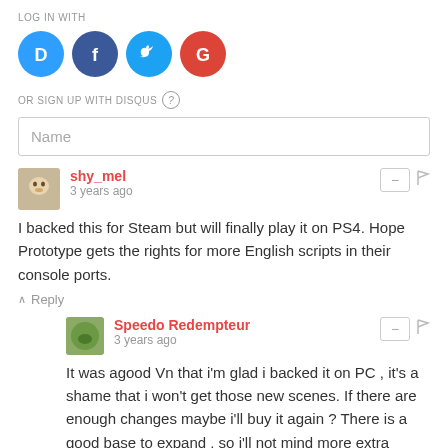LOG IN WITH
[Figure (infographic): Four social login icons: Disqus (blue circle with D), Facebook (dark blue circle with f), Twitter (light blue circle with bird), Google (red circle with G)]
OR SIGN UP WITH DISQUS (?)
Name
shy_mel
3 years ago
I backed this for Steam but will finally play it on PS4. Hope Prototype gets the rights for more English scripts in their console ports.
Reply
Speedo Redempteur
3 years ago
It was agood Vn that i'm glad i backed it on PC , it's a shame that i won't get those new scenes. If there are enough changes maybe i'll buy it again ? There is a good base to expand , so i'll not mind more extra chapter centered among